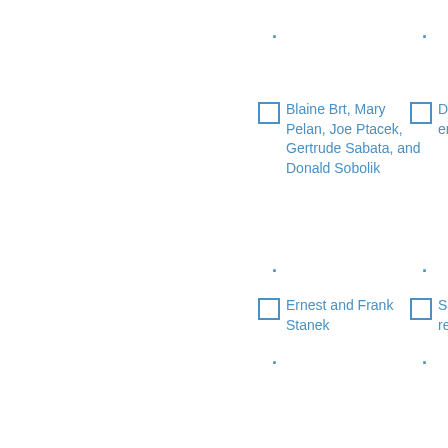Blaine Brt, Mary Pelan, Joe Ptacek, Gertrude Sabata, and Donald Sobolik
Dav Me entrance
Ernest and Frank Stanek
San rein